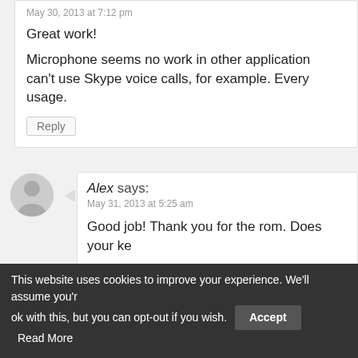May 30, 2013 at 7:12 pm
Great work!
Microphone seems no work in other applications, can't use Skype voice calls, for example. Every... usage.
Reply
Alex says:
May 31, 2013 at 5:25 am
Good job! Thank you for the rom. Does your ke...
Reply
Basti says:
May 31, 2013 at 10:19 am
This website uses cookies to improve your experience. We'll assume you're ok with this, but you can opt-out if you wish. Accept Read More